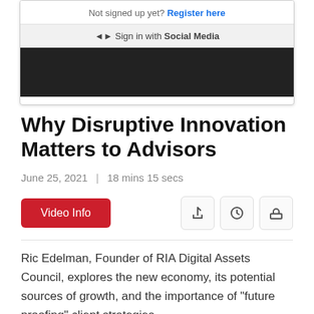[Figure (screenshot): Web page UI showing 'Not signed up yet? Register here' link and 'Sign in with Social Media' button, with a dark photo strip below]
Why Disruptive Innovation Matters to Advisors
June 25, 2021  |  18 mins 15 secs
Video Info
Ric Edelman, Founder of RIA Digital Assets Council, explores the new economy, its potential sources of growth, and the importance of "future proofing" client strategies.
Channel: S&P Dow Jones Indices